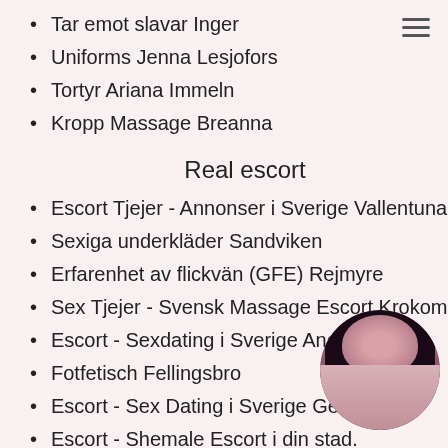Tar emot slavar Inger
Uniforms Jenna Lesjofors
Tortyr Ariana Immeln
Kropp Massage Breanna
Real escort
Escort Tjejer - Annonser i Sverige Vallentuna
Sexiga underkläder Sandviken
Erfarenhet av flickvän (GFE) Rejmyre
Sex Tjejer - Svensk Massage Escort Krokom
Escort - Sexdating i Sverige Anderstorp
Fotfetisch Fellingsbro
Escort - Sex Dating i Sverige Gette
Escort - Shemale Escort i din stad.
Escort - Sex Dating i Sverige Rattvik
[Figure (photo): Circular cropped photo of a woman, partially obscuring last two list items]